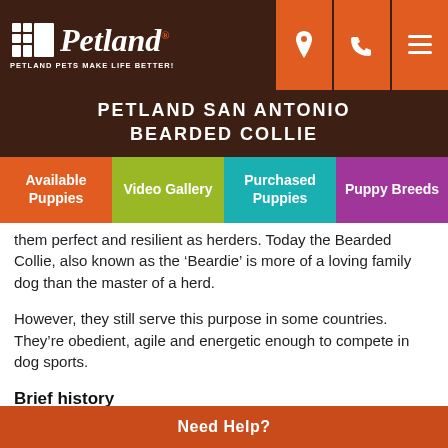[Figure (logo): Petland logo with paw icon and tagline 'PETLAND PETS MAKE LIFE BETTER!']
PETLAND SAN ANTONIO
BEARDED COLLIE
[Figure (infographic): Navigation tab bar with four tabs: Available Puppies (orange), Video Gallery (green), Purchased Puppies (teal), Puppy Breeds (purple)]
them perfect and resilient as herders. Today the Bearded Collie, also known as the 'Beardie' is more of a loving family dog than the master of a herd.
However, they still serve this purpose in some countries. They're obedient, agile and energetic enough to compete in dog sports.
Brief history
The Bearded Collie as earlier stated originates from Scotland. It is one of Britain's oldest breeds and its true
Need Help?